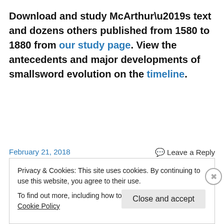Download and study McArthur’s text and dozens others published from 1580 to 1880 from our study page. View the antecedents and major developments of smallsword evolution on the timeline.
February 21, 2018
Leave a Reply
Privacy & Cookies: This site uses cookies. By continuing to use this website, you agree to their use.
To find out more, including how to control cookies, see here: Cookie Policy
Close and accept